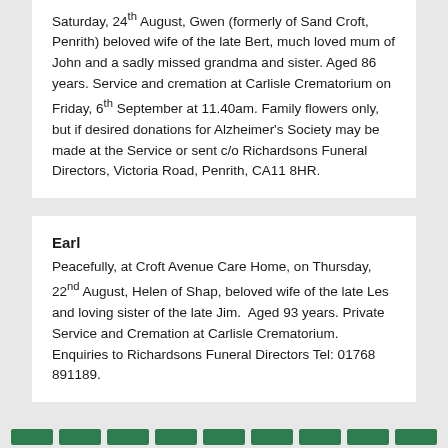Saturday, 24th August, Gwen (formerly of Sand Croft, Penrith) beloved wife of the late Bert, much loved mum of John and a sadly missed grandma and sister. Aged 86 years. Service and cremation at Carlisle Crematorium on Friday, 6th September at 11.40am. Family flowers only, but if desired donations for Alzheimer's Society may be made at the Service or sent c/o Richardsons Funeral Directors, Victoria Road, Penrith, CA11 8HR.
Earl
Peacefully, at Croft Avenue Care Home, on Thursday, 22nd August, Helen of Shap, beloved wife of the late Les and loving sister of the late Jim. Aged 93 years. Private Service and Cremation at Carlisle Crematorium. Enquiries to Richardsons Funeral Directors Tel: 01768 891189.